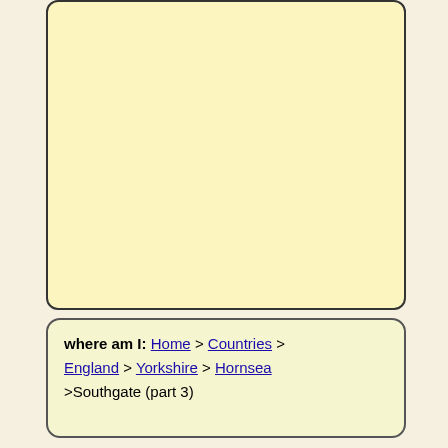[Figure (other): Empty rounded rectangle box with light yellow/cream background, top portion of the page]
where am I: Home > Countries > England > Yorkshire > Hornsea >Southgate (part 3)
GPR